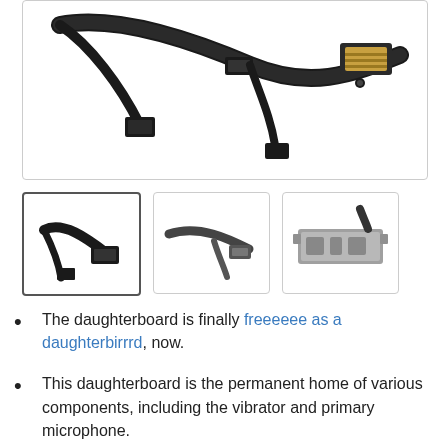[Figure (photo): Close-up photo of a smartphone daughterboard/flex cable assembly with connectors and electronic components on a white background]
[Figure (photo): Thumbnail 1: Small daughterboard flex cable component, dark colored]
[Figure (photo): Thumbnail 2: Daughterboard flex cable component, medium view]
[Figure (photo): Thumbnail 3: Daughterboard metal bracket/housing component]
The daughterboard is finally freeeeee as a daughterbirrrd, now.
This daughterboard is the permanent home of various components, including the vibrator and primary microphone.